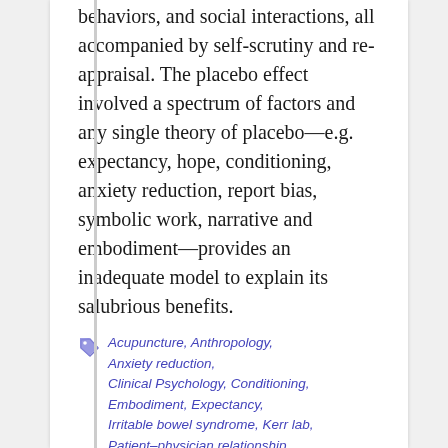behaviors, and social interactions, all accompanied by self-scrutiny and re-appraisal. The placebo effect involved a spectrum of factors and any single theory of placebo—e.g. expectancy, hope, conditioning, anxiety reduction, report bias, symbolic work, narrative and embodiment—provides an inadequate model to explain its salubrious benefits.
Acupuncture, Anthropology, Anxiety reduction, Clinical Psychology, Conditioning, Embodiment, Expectancy, Irritable bowel syndrome, Kerr lab, Patient–physician relationship, Placebo, Placebo controls, Placebo effect, Psychiatry, Public Health/Gesundheitswesen, Randomized controlled trials